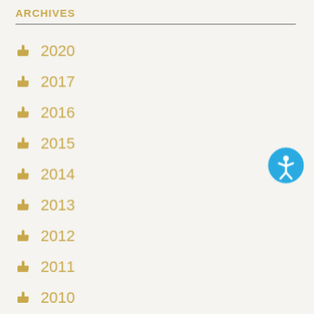ARCHIVES
2020
2017
2016
2015
2014
2013
2012
2011
2010
[Figure (illustration): Blue circular accessibility icon with person figure]